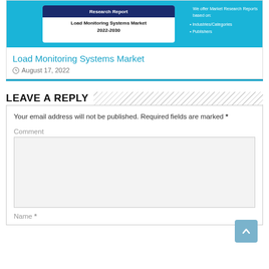[Figure (screenshot): Partial screenshot of a market research report card for 'Load Monitoring Systems Market 2022-2030' with blue and white design elements]
Load Monitoring Systems Market
August 17, 2022
LEAVE A REPLY
Your email address will not be published. Required fields are marked *
Comment
Name *